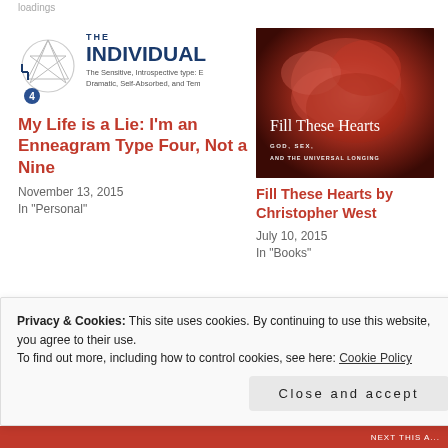loadings
[Figure (illustration): Enneagram Type 4 - The Individual logo with enneagram symbol and text: THE INDIVIDUAL, The Sensitive, Introspective type: E Dramatic, Self-Absorbed, and Tem]
My Life is a Lie: I'm an Enneagram Type Four, Not a Nine
November 13, 2015
In "Personal"
[Figure (photo): Book cover of Fill These Hearts by Christopher West - reddish rose image with text Fill These Hearts, GOD, SEX, AND THE UNIVERSAL LONGING]
Fill These Hearts by Christopher West
July 10, 2015
In "Books"
Privacy & Cookies: This site uses cookies. By continuing to use this website, you agree to their use.
To find out more, including how to control cookies, see here: Cookie Policy
Close and accept